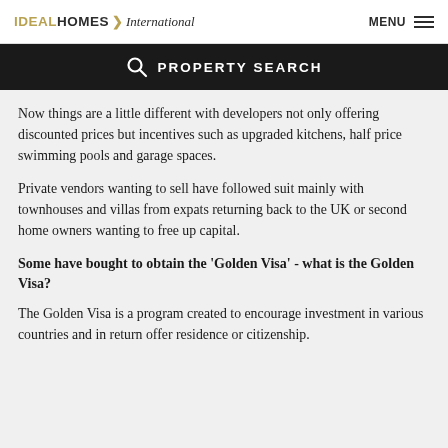IDEAL HOMES International  MENU
PROPERTY SEARCH
Now things are a little different with developers not only offering discounted prices but incentives such as upgraded kitchens, half price swimming pools and garage spaces.
Private vendors wanting to sell have followed suit mainly with townhouses and villas from expats returning back to the UK or second home owners wanting to free up capital.
Some have bought to obtain the 'Golden Visa' - what is the Golden Visa?
The Golden Visa is a program created to encourage investment in various countries and in return offer residence or citizenship.